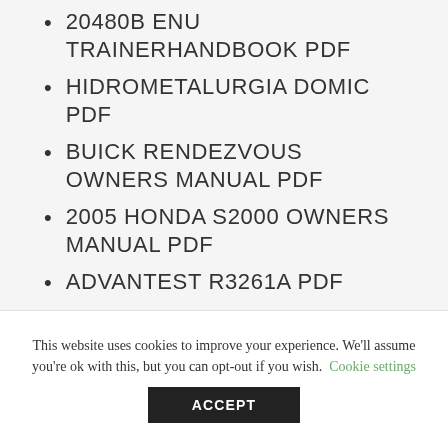20480B ENU TRAINERHANDBOOK PDF
HIDROMETALURGIA DOMIC PDF
BUICK RENDEZVOUS OWNERS MANUAL PDF
2005 HONDA S2000 OWNERS MANUAL PDF
ADVANTEST R3261A PDF
CPL-2054 BEDIENUNGSANLEITUNG
This website uses cookies to improve your experience. We'll assume you're ok with this, but you can opt-out if you wish. Cookie settings ACCEPT